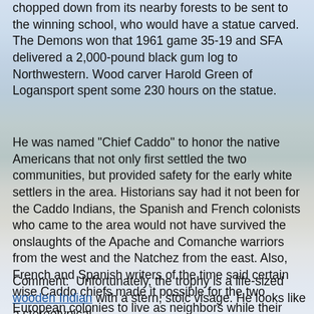chopped down from its nearby forests to be sent to the winning school, who would have a statue carved. The Demons won that 1961 game 35-19 and SFA delivered a 2,000-pound black gum log to Northwestern. Wood carver Harold Green of Logansport spent some 230 hours on the statue.
He was named "Chief Caddo" to honor the native Americans that not only first settled the two communities, but provided safety for the early white settlers in the area. Historians say had it not been for the Caddo Indians, the Spanish and French colonists who came to the area would not have survived the onslaughts of the Apache and Comanche warriors from the west and the Natchez from the east. Also, French and Spanish writers of the time said certain wise Caddo chiefs made it possible for the two European colonies to live as neighbors while their mother countries were at war against each other.
Comment:  Unfortunately, the trophy is a life-sized wooden Indian with a stern, stoic visage. He looks like a stereotypical